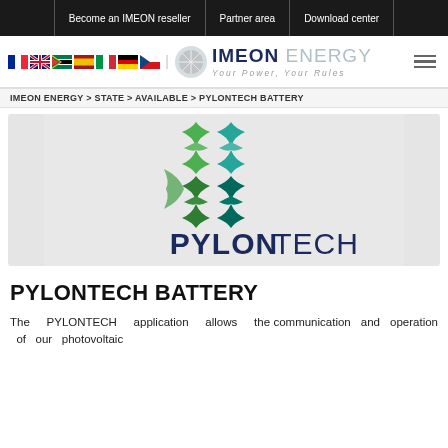Become an IMEON reseller | Partner area | Download center
[Figure (logo): IMEON ENERGY logo with flags and tagline 'Your Power, Your Rules']
IMEON ENERGY > STATE > AVAILABLE > PYLONTECH BATTERY
[Figure (logo): PYLONTECH logo on light grey background]
PYLONTECH BATTERY
The PYLONTECH application allows the communication and operation of our photovoltaic